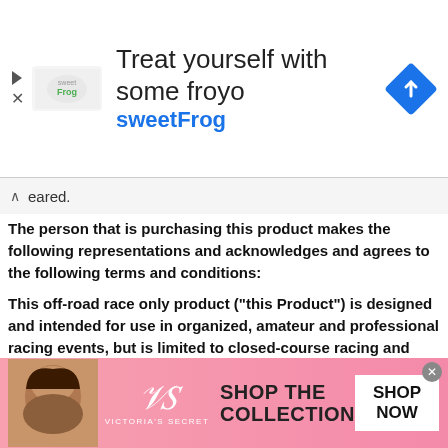[Figure (infographic): Top advertisement banner for sweetFrog frozen yogurt: logo on left, headline 'Treat yourself with some froyo' and 'sweetFrog' in blue, navigation diamond icon on right.]
eared.
The person that is purchasing this product makes the following representations and acknowledges and agrees to the following terms and conditions:
This off-road race only product ("this Product") is designed and intended for use in organized, amateur and professional racing events, but is limited to closed-course racing and open-course racing that is formally sanctioned by a recognized racing organization involving the motor vehicle in which it is installed (the "Vehicle"). It is not for use on public highways or roads nor is it for recreational off-road use other than solely for competition purposes. The person or entity buying this Product and/or using this Product (the "User") agrees to use the Vehicle solely for competition uses as described herein, and the User acknowledges that the purchase, installation and use of
[Figure (infographic): Bottom advertisement banner for Victoria's Secret: model on left, VS monogram logo, 'SHOP THE COLLECTION' text, and 'SHOP NOW' button on right. Pink gradient background.]